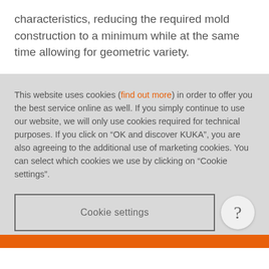characteristics, reducing the required mold construction to a minimum while at the same time allowing for geometric variety.
This website uses cookies (find out more) in order to offer you the best service online as well. If you simply continue to use our website, we will only use cookies required for technical purposes. If you click on “OK and discover KUKA”, you are also agreeing to the additional use of marketing cookies. You can select which cookies we use by clicking on “Cookie settings”.
Cookie settings